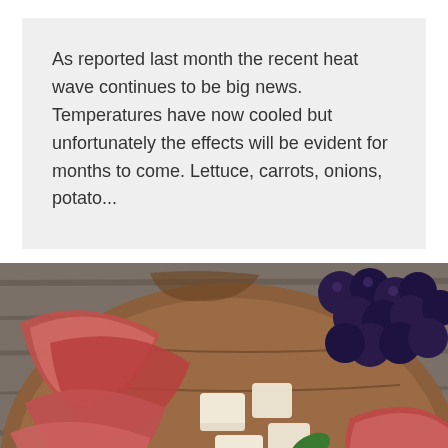As reported last month the recent heat wave continues to be big news. Temperatures have now cooled but unfortunately the effects will be evident for months to come. Lettuce, carrots, onions, potato...
[Figure (photo): A charcuterie board with sliced cured meats (prosciutto/ham), cubed white cheese, fresh dark blue/purple grapes, and green basil leaves, arranged on a round wooden board placed on a rustic grey wooden surface.]